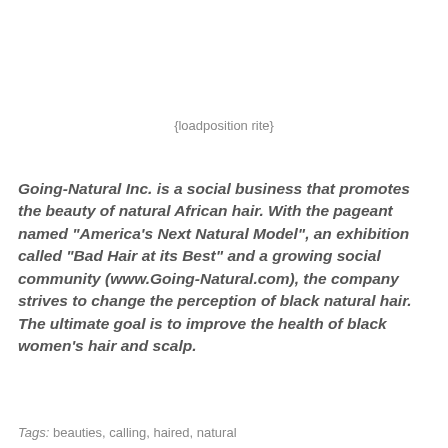{loadposition rite}
Going-Natural Inc. is a social business that promotes the beauty of natural African hair. With the pageant named “America’s Next Natural Model”, an exhibition called “Bad Hair at its Best” and a growing social community (www.Going-Natural.com), the company strives to change the perception of black natural hair. The ultimate goal is to improve the health of black women’s hair and scalp.
Tags: beauties, calling, haired, natural